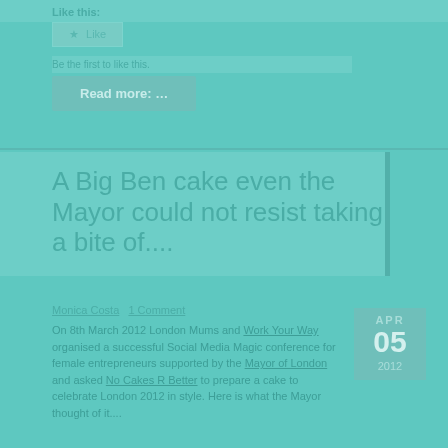Like this:
[Figure (screenshot): Like button widget with star icon and Like text]
Be the first to like this.
Read more: ...
A Big Ben cake even the Mayor could not resist taking a bite of....
Monica Costa   1 Comment
On 8th March 2012 London Mums and Work Your Way organised a successful Social Media Magic conference for female entrepreneurs supported by the Mayor of London and asked No Cakes R Better to prepare a cake to celebrate London 2012 in style. Here is what the Mayor thought of it....
APR 05 2012